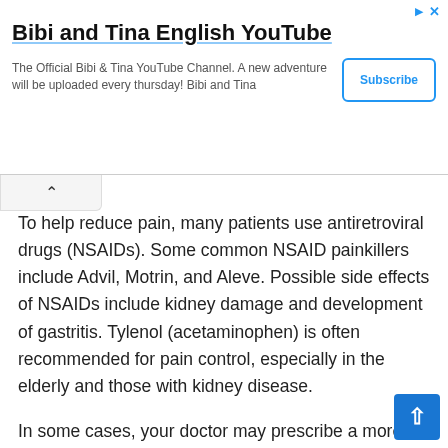[Figure (screenshot): Advertisement banner for 'Bibi and Tina English YouTube' channel with Subscribe button, collapse chevron tab, and scroll-to-top button]
To help reduce pain, many patients use antiretroviral drugs (NSAIDs). Some common NSAID painkillers include Advil, Motrin, and Aleve. Possible side effects of NSAIDs include kidney damage and development of gastritis. Tylenol (acetaminophen) is often recommended for pain control, especially in the elderly and those with kidney disease.
In some cases, your doctor may prescribe a more powerful pain reliever, such as hydrocodone. These medications can help provide relief from severe pain. The most effective for really flammable, are steroids